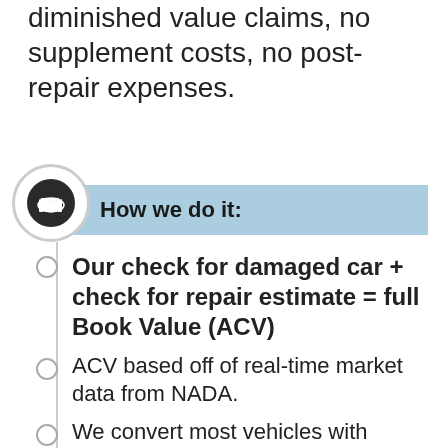diminished value claims, no supplement costs, no post-repair expenses.
[Figure (infographic): Section header banner with handshake icon in a circle on the left, light blue banner reading 'How we do it:']
Our check for damaged car + check for repair estimate = full Book Value (ACV)
ACV based off of real-time market data from NADA.
We convert most vehicles with damage estimates 25% and below of ACV...